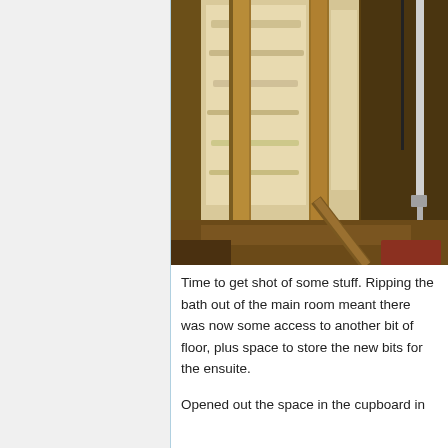[Figure (photo): Interior photo showing wooden wall framing studs with white fibreglass/mineral wool insulation batts between them. Visible timber structure and what appears to be plumbing pipes and electrical cables in the background to the right.]
Time to get shot of some stuff. Ripping the bath out of the main room meant there was now some access to another bit of floor, plus space to store the new bits for the ensuite.
Opened out the space in the cupboard in